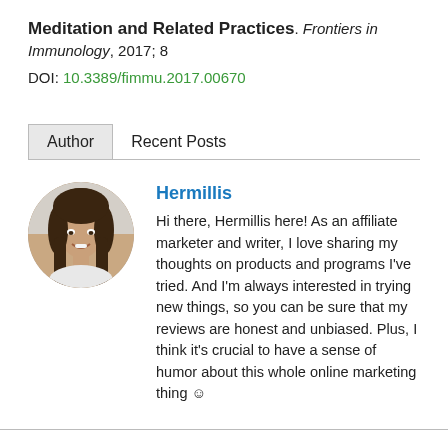Meditation and Related Practices. Frontiers in Immunology, 2017; 8
DOI: 10.3389/fimmu.2017.00670
Author | Recent Posts
[Figure (photo): Circular profile photo of Hermillis, a young woman with long dark hair, smiling.]
Hermillis
Hi there, Hermillis here! As an affiliate marketer and writer, I love sharing my thoughts on products and programs I've tried. And I'm always interested in trying new things, so you can be sure that my reviews are honest and unbiased. Plus, I think it's crucial to have a sense of humor about this whole online marketing thing ☺